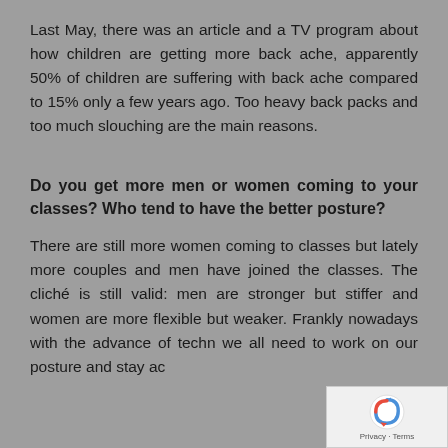Last May, there was an article and a TV program about how children are getting more back ache, apparently 50% of children are suffering with back ache compared to 15% only a few years ago. Too heavy back packs and too much slouching are the main reasons.
Do you get more men or women coming to your classes? Who tend to have the better posture?
There are still more women coming to classes but lately more couples and men have joined the classes. The cliché is still valid: men are stronger but stiffer and women are more flexible but weaker. Frankly nowadays with the advance of techn... we all need to work on our posture and stay ac...